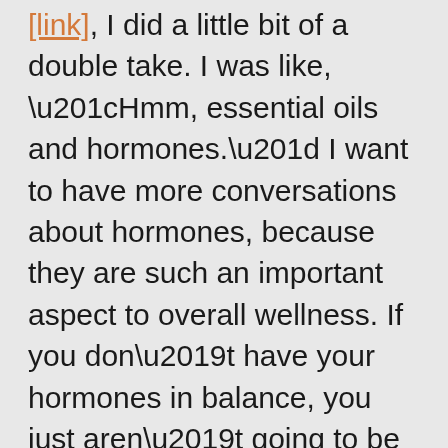[link], I did a little bit of a double take. I was like, “Hmm, essential oils and hormones.” I want to have more conversations about hormones, because they are such an important aspect to overall wellness. If you don’t have your hormones in balance, you just aren’t going to be well. But I’d never really heard anybody